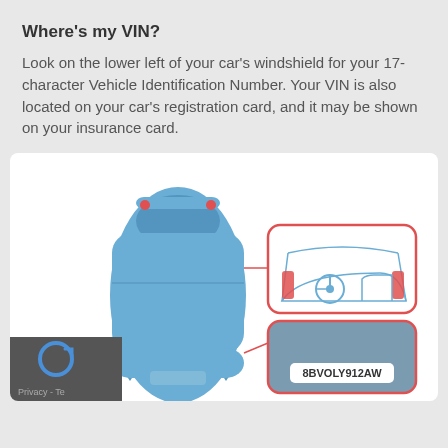Where's my VIN?
Look on the lower left of your car's windshield for your 17-character Vehicle Identification Number. Your VIN is also located on your car's registration card, and it may be shown on your insurance card.
[Figure (illustration): Top-down view of a blue car with two callout boxes: one showing the dashboard/windshield area interior with orange highlighted elements, and one showing a dark windshield area with a VIN label reading '8BVOLY912AW'. Lines connect the car to the callout boxes.]